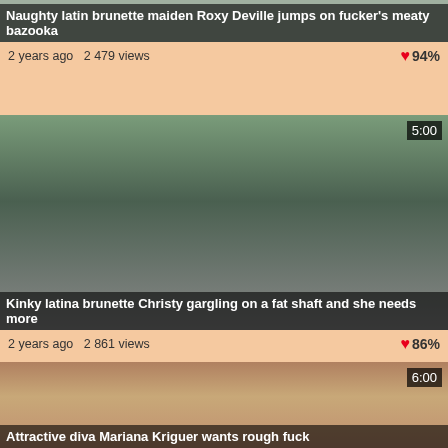[Figure (screenshot): Video thumbnail for Roxy Deville, cropped at top]
Naughty latin brunette maiden Roxy Deville jumps on fucker's meaty bazooka
2 years ago  2 479 views   ♥94%
[Figure (screenshot): Video thumbnail showing man and woman in car, duration 5:00]
Kinky latina brunette Christy gargling on a fat shaft and she needs more
2 years ago  2 861 views   ♥86%
[Figure (screenshot): Video thumbnail with blonde woman, duration 6:00]
Attractive diva Mariana Kriguer wants rough fuck